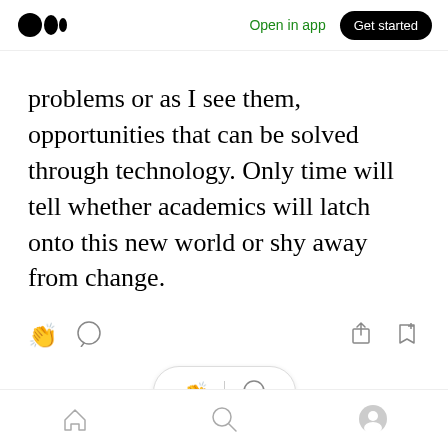Medium app header: logo, Open in app, Get started
problems or as I see them, opportunities that can be solved through technology. Only time will tell whether academics will latch onto this new world or shy away from change.
[Figure (screenshot): Article action bar with clap, comment, share, and bookmark icons]
[Figure (screenshot): Floating pill action bar with clap and comment icons]
Bottom navigation bar with home, search, and profile icons